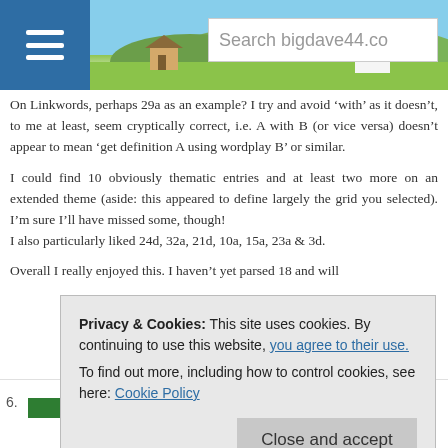Search bigdave44.co
On Linkwords, perhaps 29a as an example? I try and avoid ‘with’ as it doesn’t, to me at least, seem cryptically correct, i.e. A with B (or vice versa) doesn’t appear to mean ‘get definition A using wordplay B’ or similar.
I could find 10 obviously thematic entries and at least two more on an extended theme (aside: this appeared to define largely the grid you selected). I’m sure I’ll have missed some, though!
I also particularly liked 24d, 32a, 21d, 10a, 15a, 23a & 3d.
Overall I really enjoyed this. I haven’t yet parsed 18 and will
Privacy & Cookies: This site uses cookies. By continuing to use this website, you agree to their use.
To find out more, including how to control cookies, see here: Cookie Policy
Close and accept
6. mucky
July 9, 2018 at 10:03 am